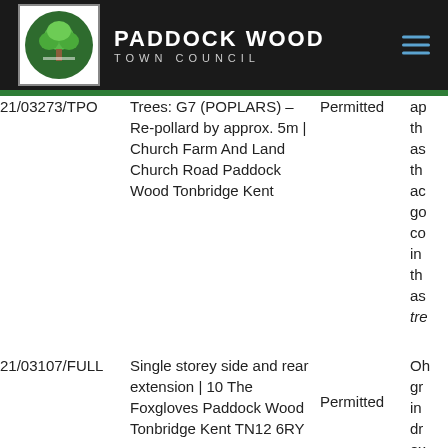Paddock Wood Town Council
| Reference | Description | Status | Notes |
| --- | --- | --- | --- |
| 21/03273/TPO | Trees: G7 (POPLARS) – Re-pollard by approx. 5m | Church Farm And Land Church Road Paddock Wood Tonbridge Kent | Permitted | ap th as th ac go co in th as tre |
| 21/03107/FULL | Single storey side and rear extension | 10 The Foxgloves Paddock Wood Tonbridge Kent TN12 6RY | Permitted | Oh gr in dr ex |